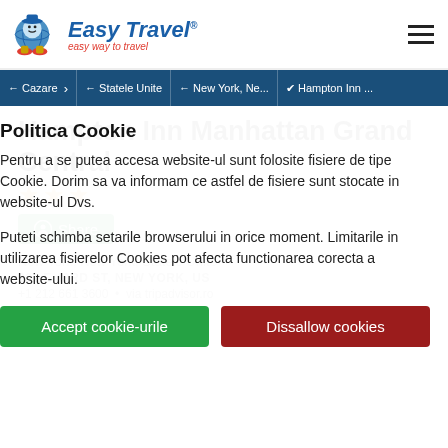Easy Travel - easy way to travel
← Cazare › ← Statele Unite ← New York, Ne... ✔ Hampton Inn ...
Hampton Inn Manhattan Grand Central
★★★
Share
New York, New York, Statele Unite
231 E 43RD ST, NEW YORK, US
Tripadvisor Score: 4.5
Politica Cookie
Pentru a se putea accesa website-ul sunt folosite fisiere de tipe Cookie. Dorim sa va informam ce astfel de fisiere sunt stocate in website-ul Dvs.
Puteti schimba setarile browserului in orice moment. Limitarile in utilizarea fisierelor Cookies pot afecta functionarea corecta a website-ului.
Accept cookie-urile
Dissallow cookies
centrally located in New York, within a 10-minute walk of Grand